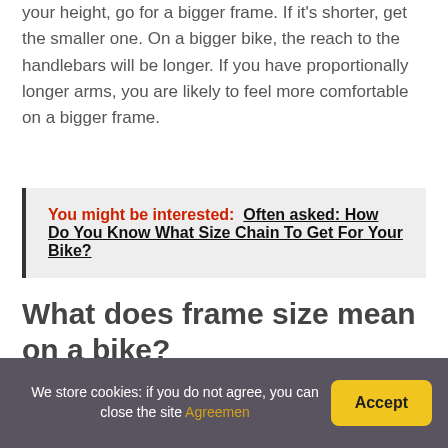your height, go for a bigger frame. If it's shorter, get the smaller one. On a bigger bike, the reach to the handlebars will be longer. If you have proportionally longer arms, you are likely to feel more comfortable on a bigger frame.
You might be interested:  Often asked: How Do You Know What Size Chain To Get For Your Bike?
What does frame size mean on a bike?
We store cookies: if you do not agree, you can close the site Agreemen